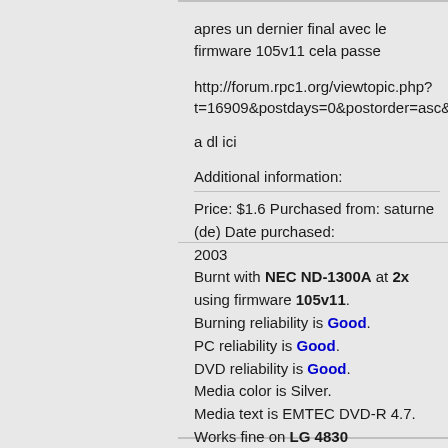apres un dernier final avec le firmware 105v11 cela passe
http://forum.rpc1.org/viewtopic.php?
t=16909&postdays=0&postorder=asc&highlight=emtec+
a dl ici
Additional information:
Price: $1.6 Purchased from: saturne (de) Date purchased: 2003
Burnt with NEC ND-1300A at 2x using firmware 105v11.
Burning reliability is Good.
PC reliability is Good.
DVD reliability is Good.
Media color is Silver.
Media text is EMTEC DVD-R 4.7.
Works fine on LG 4830